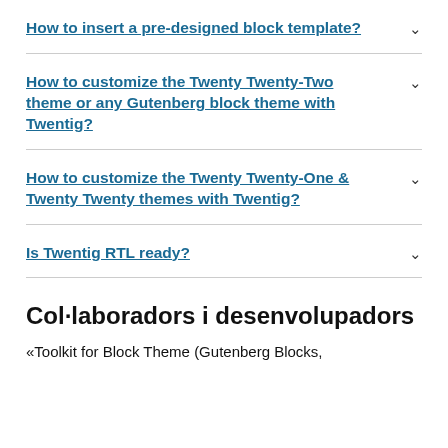How to insert a pre-designed block template?
How to customize the Twenty Twenty-Two theme or any Gutenberg block theme with Twentig?
How to customize the Twenty Twenty-One & Twenty Twenty themes with Twentig?
Is Twentig RTL ready?
Col·laboradors i desenvolupadors
«Toolkit for Block Theme (Gutenberg Blocks,